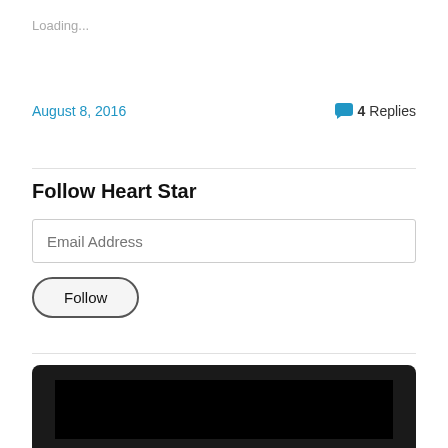Loading...
August 8, 2016
4 Replies
Follow Heart Star
Email Address
Follow
[Figure (screenshot): Partially visible dark/black image at the bottom of the page, appears to be a screenshot or media thumbnail with a dark border and black interior area.]